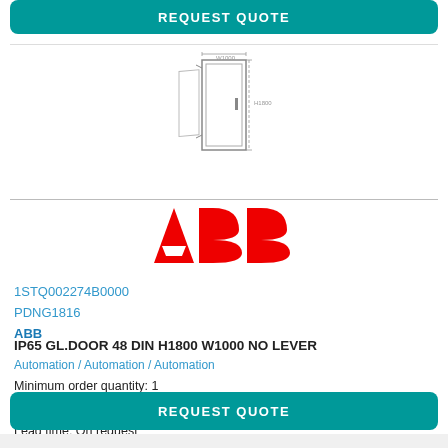[Figure (screenshot): REQUEST QUOTE button (teal/green rounded rectangle) at top]
[Figure (illustration): Line drawing of an enclosure/cabinet door product]
[Figure (logo): ABB logo in red letters]
1STQ002274B0000
PDNG1816
ABB
IP65 GL.DOOR 48 DIN H1800 W1000 NO LEVER
Automation / Automation / Automation
Minimum order quantity: 1
Packaging quantity: 1
Lead time: On request
[Figure (screenshot): REQUEST QUOTE button (teal/green rounded rectangle) at bottom]